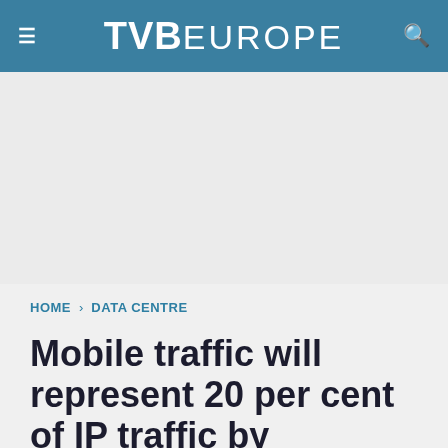TVB EUROPE
[Figure (other): Advertisement placeholder area]
HOME › DATA CENTRE
Mobile traffic will represent 20 per cent of IP traffic by